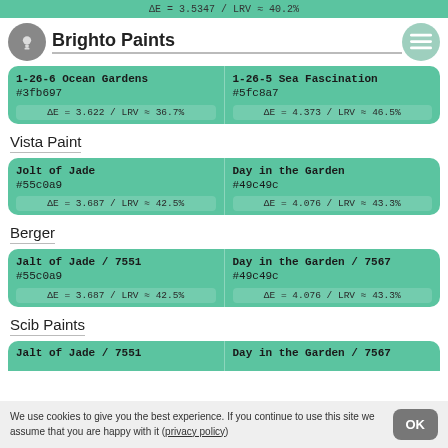ΔE = 3.5347 / LRV ≈ 40.2%
Brighto Paints
| Color 1 | Color 2 |
| --- | --- |
| 1-26-6 Ocean Gardens
#3fb697
ΔE = 3.622 / LRV ≈ 36.7% | 1-26-5 Sea Fascination
#5fc8a7
ΔE = 4.373 / LRV ≈ 46.5% |
Vista Paint
| Color 1 | Color 2 |
| --- | --- |
| Jolt of Jade
#55c0a9
ΔE = 3.687 / LRV ≈ 42.5% | Day in the Garden
#49c49c
ΔE = 4.076 / LRV ≈ 43.3% |
Berger
| Color 1 | Color 2 |
| --- | --- |
| Jalt of Jade / 7551
#55c0a9
ΔE = 3.687 / LRV ≈ 42.5% | Day in the Garden / 7567
#49c49c
ΔE = 4.076 / LRV ≈ 43.3% |
Scib Paints
Jalt of Jade / 7551 | Day in the Garden / 7567 (partial)
We use cookies to give you the best experience. If you continue to use this site we assume that you are happy with it (privacy policy)